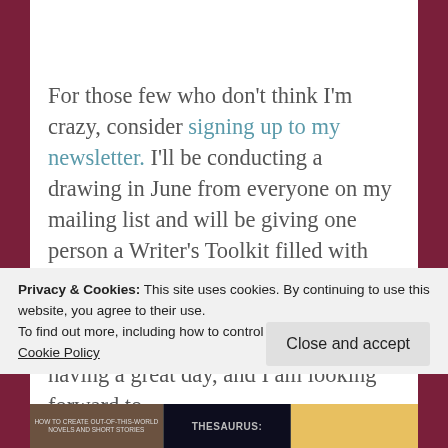For those few who don't think I'm crazy, consider signing up to my newsletter. I'll be conducting a drawing in June from everyone on my mailing list and will be giving one person a Writer's Toolkit filled with some awesome books on the craft. You can check them out in more detail in the picture below. I hope you are having a great day, and I am looking forward to
Privacy & Cookies: This site uses cookies. By continuing to use this website, you agree to their use.
To find out more, including how to control cookies, see here:
Cookie Policy
Close and accept
[Figure (photo): A strip at the bottom showing book covers including a book about writing and a Thesaurus]